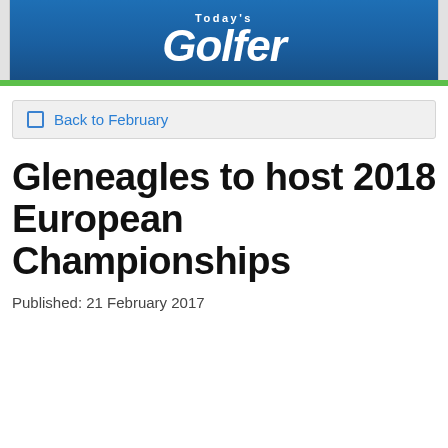Today's Golfer
Back to February
Gleneagles to host 2018 European Championships
Published: 21 February 2017